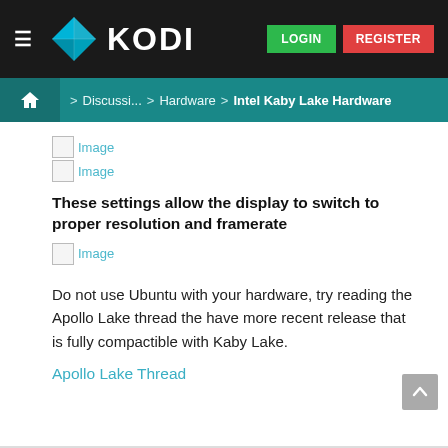KODI — LOGIN REGISTER
Home > Discussi... > Hardware > Intel Kaby Lake Hardware
[Figure (illustration): Broken image placeholder (Image)]
[Figure (illustration): Broken image placeholder (Image)]
These settings allow the display to switch to proper resolution and framerate
[Figure (illustration): Broken image placeholder (Image)]
Do not use Ubuntu with your hardware, try reading the Apollo Lake thread the have more recent release that is fully compactible with Kaby Lake.
Apollo Lake Thread